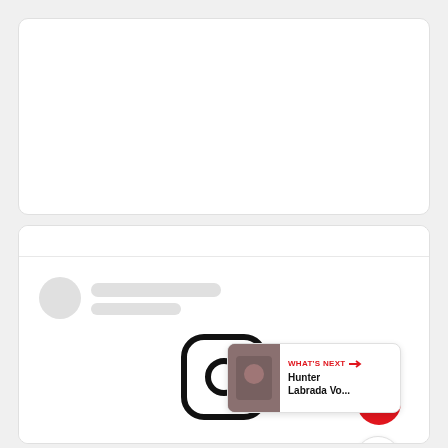[Figure (screenshot): Top white card area - empty/placeholder content area]
[Figure (screenshot): Bottom white card with skeleton loader (avatar circle and two skeleton lines), heart button (red circle with white heart), share button (white circle with share icon), Instagram camera icon at bottom center, and 'What's Next' panel with thumbnail and 'Hunter Labrada Vo...' text]